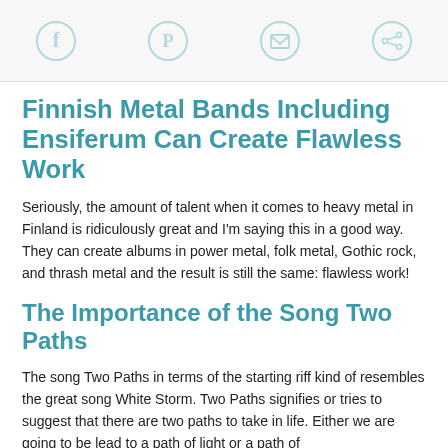[Social share icons: Facebook, Pinterest, Email, Share]
Finnish Metal Bands Including Ensiferum Can Create Flawless Work
Seriously, the amount of talent when it comes to heavy metal in Finland is ridiculously great and I'm saying this in a good way. They can create albums in power metal, folk metal, Gothic rock, and thrash metal and the result is still the same: flawless work!
The Importance of the Song Two Paths
The song Two Paths in terms of the starting riff kind of resembles the great song White Storm. Two Paths signifies or tries to suggest that there are two paths to take in life. Either we are going to be lead to a path of light or a path of darkness. The song also goes into tone as we see on the...